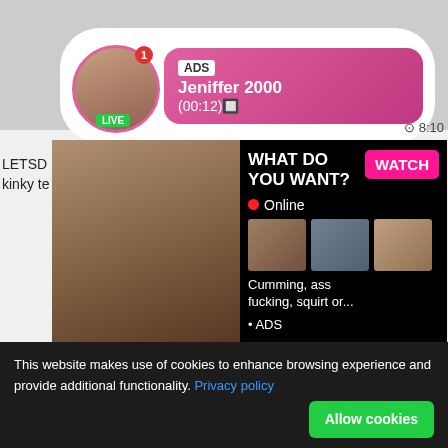[Figure (screenshot): Website screenshot showing adult content platform with notification bubble, ad banner, video thumbnails, and cookie consent banner]
ADS
Jeniffer 2000
(00:12)
LETSD
kinky te
8:10
2 799
WHAT DO YOU WANT?
Online
Cumming, ass fucking, squirt or...
• ADS
WATCH
8:22
BLACKED huge-chested
71%  1 229
ExxxtraSmall - puny taut labia
71%  1 011
This website makes use of cookies to enhance browsing experience and provide additional functionality. Privacy policy
Allow cookies